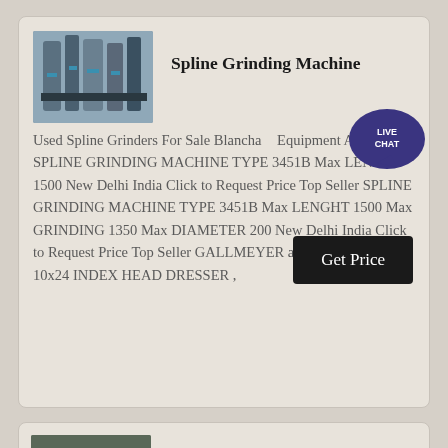[Figure (photo): Industrial spline grinding machine equipment, industrial facility with tall cylindrical structures]
Spline Grinding Machine
Used Spline Grinders For Sale Blanchard Equipment Amp More SPLINE GRINDING MACHINE TYPE 3451B Max LENGHT 1500 New Delhi India Click to Request Price Top Seller SPLINE GRINDING MACHINE TYPE 3451B Max LENGHT 1500 Max GRINDING 1350 Max DIAMETER 200 New Delhi India Click to Request Price Top Seller GALLMEYER amp LIVINGSTON 10x24 INDEX HEAD DRESSER ,
[Figure (photo): GALLMEYER & LIVINGSTON 380 Spline Grinder machine in industrial setting]
GALLMEYER & LIVINGSTON 380 Spline Grinders Used ,